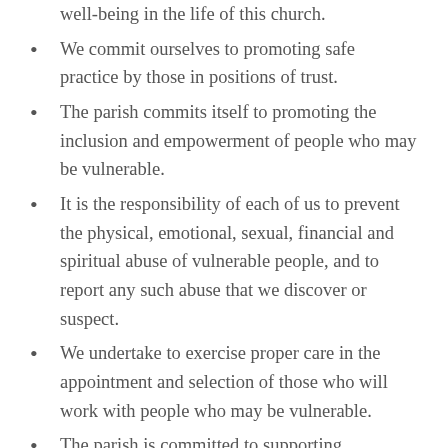well-being in the life of this church.
We commit ourselves to promoting safe practice by those in positions of trust.
The parish commits itself to promoting the inclusion and empowerment of people who may be vulnerable.
It is the responsibility of each of us to prevent the physical, emotional, sexual, financial and spiritual abuse of vulnerable people, and to report any such abuse that we discover or suspect.
We undertake to exercise proper care in the appointment and selection of those who will work with people who may be vulnerable.
The parish is committed to supporting, resourcing, training and regularly reviewing those who undertake work amongst people who may be vulnerable.
The parish adopts the guidelines of the